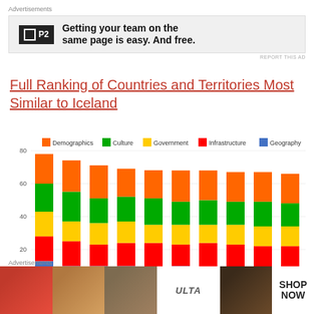Advertisements
[Figure (other): P2 advertisement banner: 'Getting your team on the same page is easy. And free.']
Full Ranking of Countries and Territories Most Similar to Iceland
[Figure (stacked-bar-chart): Full Ranking of Countries and Territories Most Similar to Iceland]
Advertisements
[Figure (other): ULTA beauty advertisement banner with makeup images and SHOP NOW text]